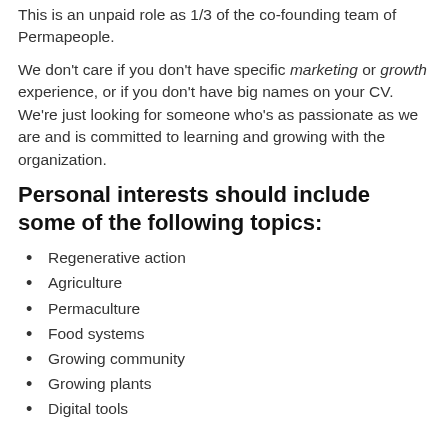This is an unpaid role as 1/3 of the co-founding team of Permapeople.
We don't care if you don't have specific marketing or growth experience, or if you don't have big names on your CV. We're just looking for someone who's as passionate as we are and is committed to learning and growing with the organization.
Personal interests should include some of the following topics:
Regenerative action
Agriculture
Permaculture
Food systems
Growing community
Growing plants
Digital tools